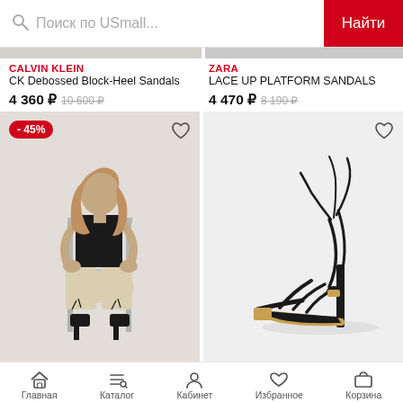Поиск по USmall... | Найти
CALVIN KLEIN
CK Debossed Block-Heel Sandals
4 360 ₽  10 600 ₽
ZARA
LACE UP PLATFORM SANDALS
4 470 ₽  8 190 ₽
[Figure (photo): Woman in black top and beige wide-leg pants sitting on a chair, wearing black lace-up heeled sandals. Red discount badge '-45%' in top-left corner.]
[Figure (photo): Black strappy high-heel sandal with gold toe cap and long laces, on white background.]
Главная  Каталог  Кабинет  Избранное  Корзина